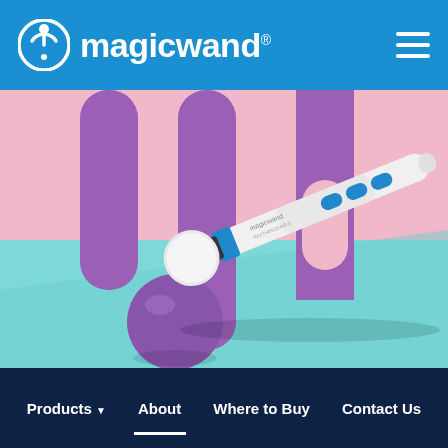magicwand®
[Figure (photo): A white Magic Wand massager device with blue accents lying diagonally on a colorful background with pink, purple, and teal colors, with large purple letter shapes in the background and a purple sphere in the foreground.]
Products ▾  About  Where to Buy  Contact Us